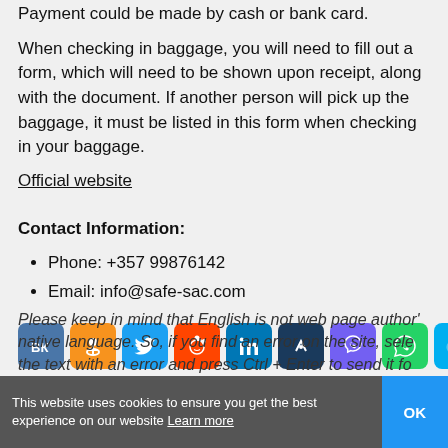Payment could be made by cash or bank card.
When checking in baggage, you will need to fill out a form, which will need to be shown upon receipt, along with the document. If another person will pick up the baggage, it must be listed in this form when checking in your baggage.
Official website
Contact Information:
Phone: +357 99876142
Email: info@safe-sac.com
[Figure (infographic): Row of social media sharing buttons: VK, OK, Twitter, Reddit, LinkedIn, unknown dark blue, Viber, WhatsApp, Skype, Telegram]
Please keep in mind that English is not web page author's native language. So, if you find an error on the site, select the text with an error and press Ctrl + Enter to send it fo
This website uses cookies to ensure you get the best experience on our website Learn more   OK